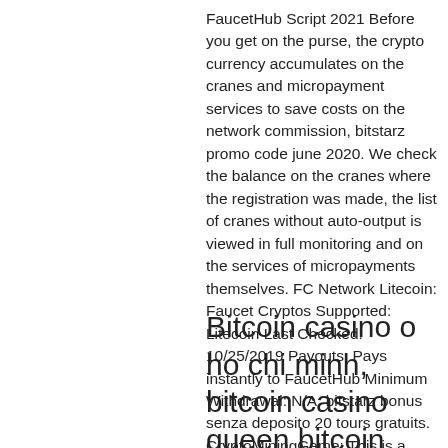FaucetHub Script 2021 Before you get on the purse, the crypto currency accumulates on the cranes and micropayment services to save costs on the network commission, bitstarz promo code june 2020. We check the balance on the cranes where the registration was made, the list of cranes without auto-output is viewed in full monitoring and on the services of micropayments themselves. FC Network Litecoin: Faucet Cryptos Supported: Litecoin Last Checked: 10/25/2019 Payouts: Pays instantly to FaucetHub Minimum Withdrawal: N/A, bitstarz bonus senza deposito 20 tours gratuits. CryptoMiningGame: This is a very unique faucet.
Bitcoin casino o ho chi minh, bitcoin casino queen bitcoin roulette